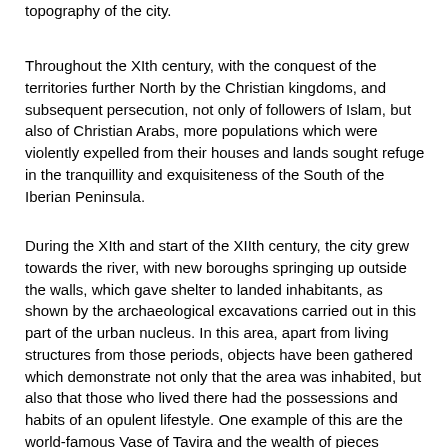topography of the city.
Throughout the XIth century, with the conquest of the territories further North by the Christian kingdoms, and subsequent persecution, not only of followers of Islam, but also of Christian Arabs, more populations which were violently expelled from their houses and lands sought refuge in the tranquillity and exquisiteness of the South of the Iberian Peninsula.
During the XIth and start of the XIIth century, the city grew towards the river, with new boroughs springing up outside the walls, which gave shelter to landed inhabitants, as shown by the archaeological excavations carried out in this part of the urban nucleus. In this area, apart from living structures from those periods, objects have been gathered which demonstrate not only that the area was inhabited, but also that those who lived there had the possessions and habits of an opulent lifestyle. One example of this are the world-famous Vase of Tavira and the wealth of pieces gathered in the same archaeological context.